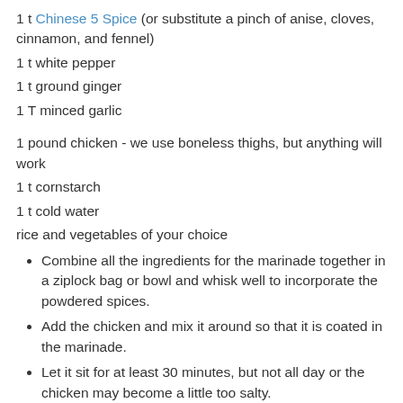1 t Chinese 5 Spice (or substitute a pinch of anise, cloves, cinnamon, and fennel)
1 t white pepper
1 t ground ginger
1 T minced garlic
1 pound chicken - we use boneless thighs, but anything will work
1 t cornstarch
1 t cold water
rice and vegetables of your choice
Combine all the ingredients for the marinade together in a ziplock bag or bowl and whisk well to incorporate the powdered spices.
Add the chicken and mix it around so that it is coated in the marinade.
Let it sit for at least 30 minutes, but not all day or the chicken may become a little too salty.
Meanwhile, start your rice and prep your veggies.
Remove the chicken from the marinade, reserving the marinade, and grill it however you'd